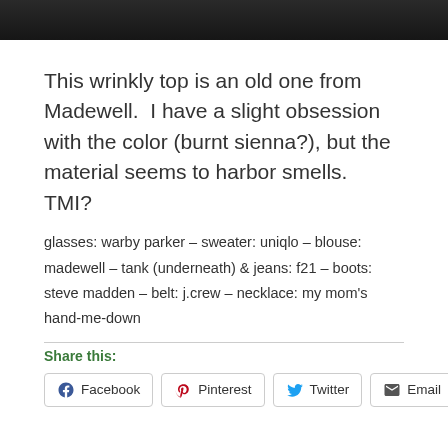[Figure (photo): Top portion of a photo showing a dark background, partially cropped]
This wrinkly top is an old one from Madewell.  I have a slight obsession with the color (burnt sienna?), but the material seems to harbor smells.  TMI?
glasses: warby parker – sweater: uniqlo – blouse: madewell – tank (underneath) & jeans: f21 – boots: steve madden – belt: j.crew – necklace: my mom's hand-me-down
Share this:
Facebook  Pinterest  Twitter  Email